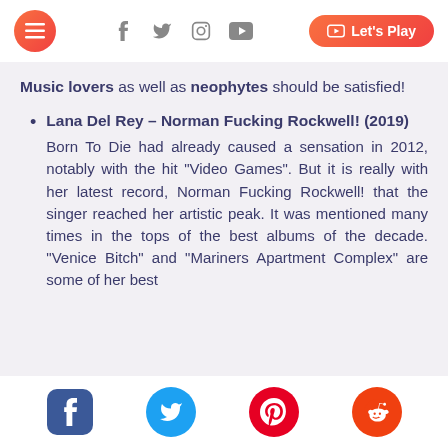Menu | Facebook | Twitter | Instagram | YouTube | Let's Play
Music lovers as well as neophytes should be satisfied!
Lana Del Rey – Norman Fucking Rockwell! (2019)
Born To Die had already caused a sensation in 2012, notably with the hit "Video Games". But it is really with her latest record, Norman Fucking Rockwell! that the singer reached her artistic peak. It was mentioned many times in the tops of the best albums of the decade. "Venice Bitch" and "Mariners Apartment Complex" are some of her best
Facebook | Twitter | Pinterest | Reddit